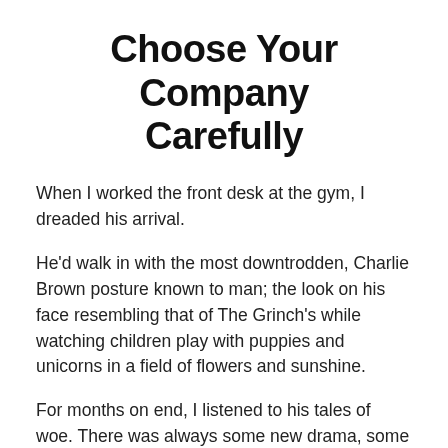Choose Your Company Carefully
When I worked the front desk at the gym, I dreaded his arrival.
He'd walk in with the most downtrodden, Charlie Brown posture known to man; the look on his face resembling that of The Grinch's while watching children play with puppies and unicorns in a field of flowers and sunshine.
For months on end, I listened to his tales of woe. There was always some new drama, some new thing that wasn't going his way, some new person whose sole purpose in life was to destroy him. Never in my life have I wanted nothing more than to turn into an Alex Mack-